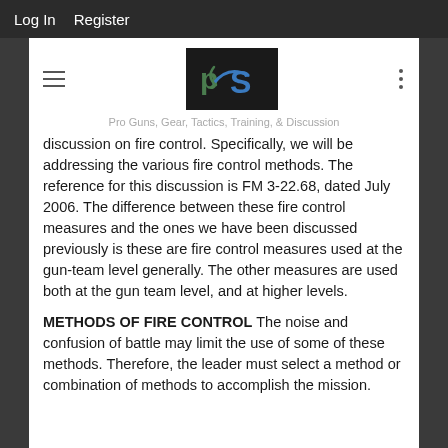Log In   Register
[Figure (logo): PGS logo — stylized letters on black background with green and blue colors]
Pro Guns, Gear, Tactics, Training, & Discussion
discussion on fire control. Specifically, we will be addressing the various fire control methods. The reference for this discussion is FM 3-22.68, dated July 2006. The difference between these fire control measures and the ones we have been discussed previously is these are fire control measures used at the gun-team level generally. The other measures are used both at the gun team level, and at higher levels.
METHODS OF FIRE CONTROL The noise and confusion of battle may limit the use of some of these methods. Therefore, the leader must select a method or combination of methods to accomplish the mission.